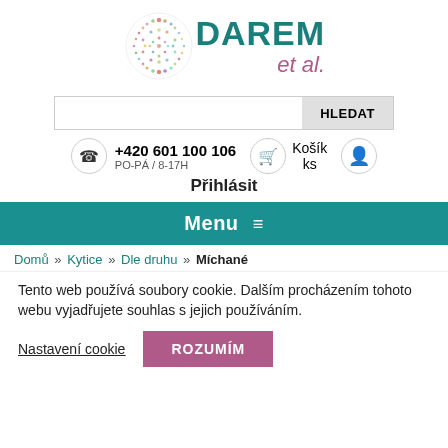[Figure (logo): DAREM et al. logo with colorful dotted circle and teal/pink text]
Search bar with HLEDAT button
+420 601 100 106 PO-PÁ / 8-17H | Košík ks | user icon
Přihlásit
Menu ≡
Domů » Kytice » Dle druhu » Míchané
Tento web používá soubory cookie. Dalším procházením tohoto webu vyjadřujete souhlas s jejich používáním.
Nastavení cookie | ROZUMÍM